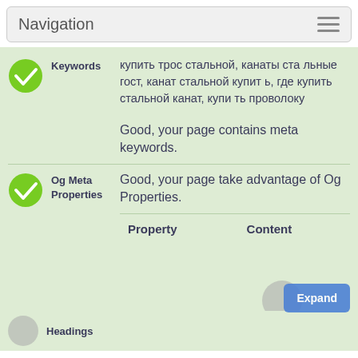Navigation
Keywords
купить трос стальной, канаты стальные гост, канат стальной купить, где купить стальной канат, купить проволоку
Good, your page contains meta keywords.
Og Meta Properties
Good, your page take advantage of Og Properties.
| Property | Content |
| --- | --- |
Headings